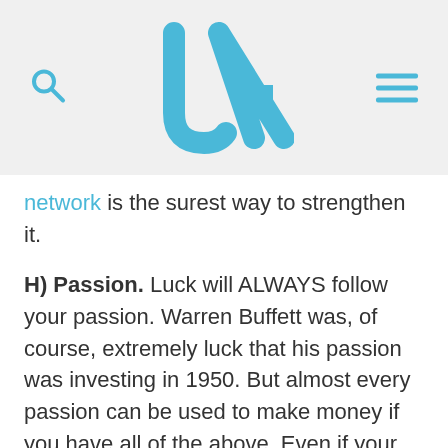[Figure (logo): JA logo in blue with search icon on left and hamburger menu on right, on a light gray background]
network is the surest way to strengthen it.
H) Passion. Luck will ALWAYS follow your passion. Warren Buffett was, of course, extremely luck that his passion was investing in 1950. But almost every passion can be used to make money if you have all of the above. Even if your passion is just “how do I meet the love of my life” and you apply all of the above you will “get lucky”, so to speak, and find success at your endeavor.
I’ve had a lot of bad things happen to me in